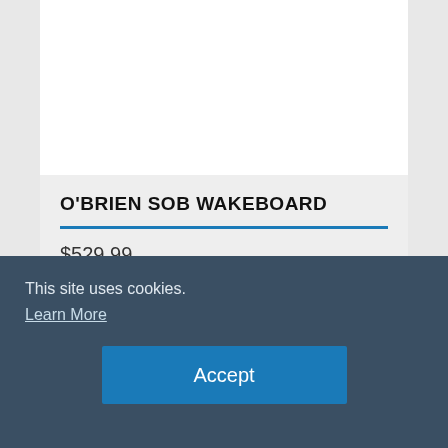[Figure (photo): White product image area (top portion of product card, image content not visible)]
O'BRIEN SOB WAKEBOARD
$529.99
[Figure (screenshot): Partial white input/content card area below price]
This site uses cookies.
Learn More
Accept